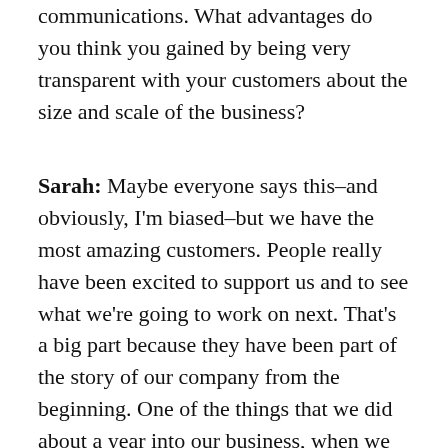communications. What advantages do you think you gained by being very transparent with your customers about the size and scale of the business?
Sarah: Maybe everyone says this–and obviously, I'm biased–but we have the most amazing customers. People really have been excited to support us and to see what we're going to work on next. That's a big part because they have been part of the story of our company from the beginning. One of the things that we did about a year into our business, when we launched our first own line of weaving yarn, is we had pre-orders and we invited people to be part of and tell others that